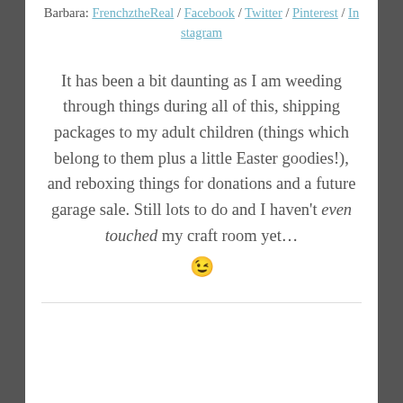Barbara: FrenchztheReal / Facebook / Twitter / Pinterest / Instagram
It has been a bit daunting as I am weeding through things during all of this, shipping packages to my adult children (things which belong to them plus a little Easter goodies!), and reboxing things for donations and a future garage sale. Still lots to do and I haven't even touched my craft room yet… 😉